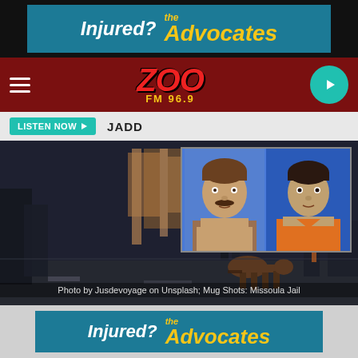[Figure (photo): Top advertisement banner for 'The Advocates' injury lawyers on teal background. Text reads 'Injured?' in white bold italic and 'the Advocates' in yellow italic.]
[Figure (logo): Zoo FM 96.9 radio station header bar on dark red background with hamburger menu on left, Zoo FM 96.9 logo in center (ZOO in red graffiti style, FM 96.9 in yellow), and teal circular play button on right.]
[Figure (screenshot): Listen Now button in teal with play arrow, followed by text 'JADD' on light gray bar.]
[Figure (photo): Main news image: nighttime street scene with police officer and K9 dog. Inset mug shots of two male suspects on blue background. Photo credit: 'Photo by Jusdevoyage on Unsplash; Mug Shots: Missoula Jail']
Photo by Jusdevoyage on Unsplash; Mug Shots: Missoula Jail
[Figure (photo): Bottom advertisement banner for 'The Advocates' injury lawyers on teal background. Text reads 'Injured?' in white bold italic and 'the Advocates' in yellow italic.]